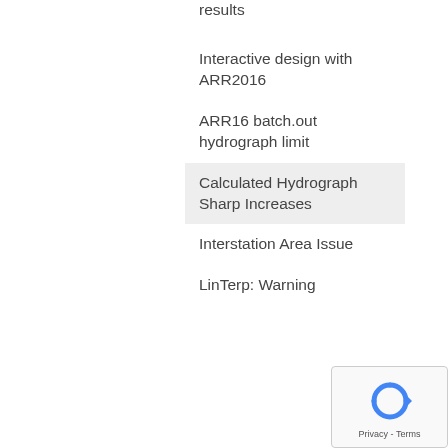results
Interactive design with ARR2016
ARR16 batch.out hydrograph limit
Calculated Hydrograph Sharp Increases
Interstation Area Issue
LinTerp: Warning
[Figure (logo): reCAPTCHA Privacy - Terms badge with circular arrow icon]